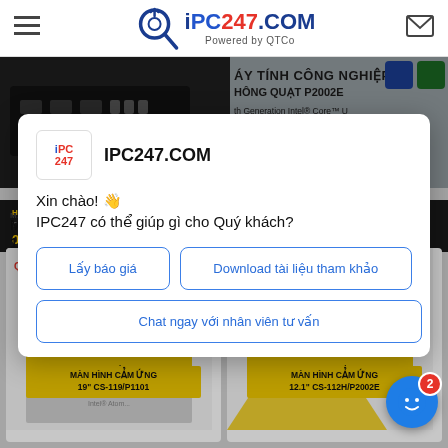[Figure (screenshot): iPC247.COM website header with logo, hamburger menu, and mail icon. Powered by QTCo tagline.]
[Figure (screenshot): Product banners showing industrial computers in the background behind a chat popup modal.]
IPC247.COM
Xin chào! 👋
IPC247 có thể giúp gì cho Quý khách?
Lấy báo giá
Download tài liệu tham khảo
Chat ngay với nhân viên tư vấn
MÁY TÍNH NHÚNG J...
Máy tính nhúng Cincoze DS-1300
MÀN HÌNH CẢM ỨNG 19" CS-119/P1101
MÀN HÌNH CẢM ỨNG 12.1" CS-112H/P2002E